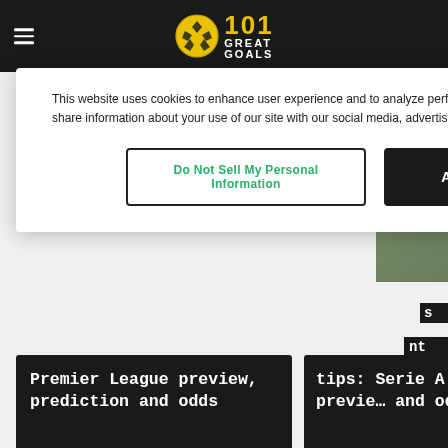101 Great Goals
This website uses cookies to enhance user experience and to analyze performance and traffic on our website. We also share information about your use of our site with our social media, advertising and analytics partners.
Do Not Sell My Personal Information
Accept Cookies
Premier League preview, prediction and odds
tips: Serie A preview and odds
© 2006 - 2022